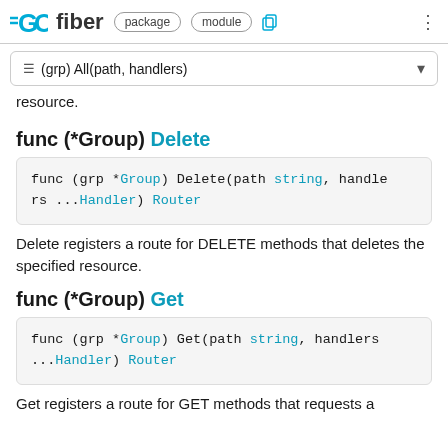GO fiber  package  module
≡ (grp) All(path, handlers)
resource.
func (*Group) Delete
func (grp *Group) Delete(path string, handlers ...Handler) Router
Delete registers a route for DELETE methods that deletes the specified resource.
func (*Group) Get
func (grp *Group) Get(path string, handlers ...Handler) Router
Get registers a route for GET methods that requests a